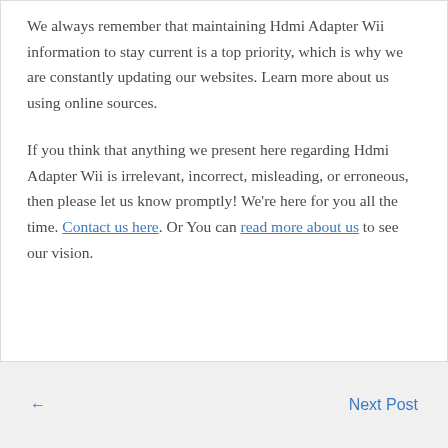We always remember that maintaining Hdmi Adapter Wii information to stay current is a top priority, which is why we are constantly updating our websites. Learn more about us using online sources.
If you think that anything we present here regarding Hdmi Adapter Wii is irrelevant, incorrect, misleading, or erroneous, then please let us know promptly! We're here for you all the time. Contact us here. Or You can read more about us to see our vision.
← Next Post